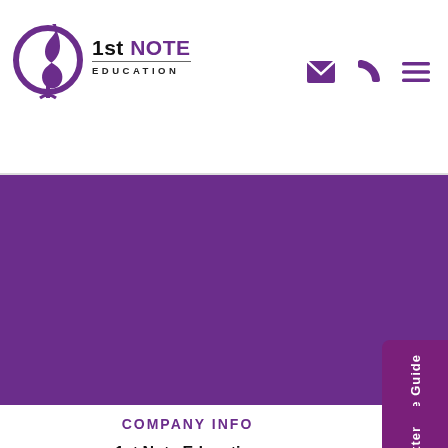[Figure (logo): 1st Note Education logo with purple treble clef/music note symbol and text '1st NOTE EDUCATION']
[Figure (infographic): Navigation icons: envelope (email), phone, and hamburger menu in purple]
[Figure (photo): Large purple banner/background image section]
Free Guide
COMPANY INFO
1st Note Education
The Enterprise Centre
Potters Bar
Hertfordshire
Newsletter